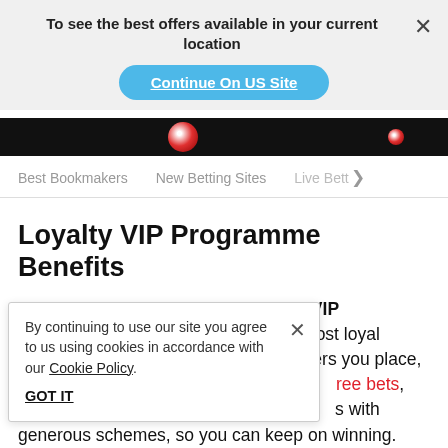To see the best offers available in your current location
Continue On US Site
Best Bookmakers   New Betting Sites   Live Bett >
Loyalty VIP Programme Benefits
The best betting apps in Ireland have VIP programmes in place to reward the most loyal customers. The more real-money wagers you place, th...nd perks mobile b...free bets, odds b...s, bonuses and m...s with generous schemes, so you can keep on winning.
By continuing to use our site you agree to us using cookies in accordance with our Cookie Policy.
GOT IT